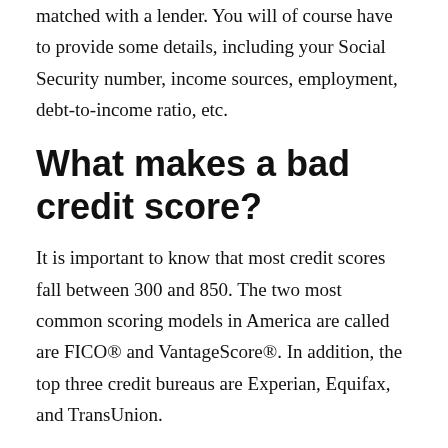matched with a lender. You will of course have to provide some details, including your Social Security number, income sources, employment, debt-to-income ratio, etc.
What makes a bad credit score?
It is important to know that most credit scores fall between 300 and 850. The two most common scoring models in America are called are FICO® and VantageScore®. In addition, the top three credit bureaus are Experian, Equifax, and TransUnion.
When credit bureaus are determining what your credit score is, they take a look at a number of variables. These variables include: